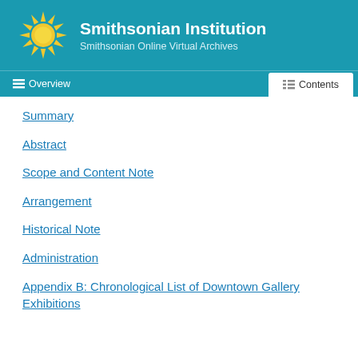Smithsonian Institution — Smithsonian Online Virtual Archives
Summary
Abstract
Scope and Content Note
Arrangement
Historical Note
Administration
Appendix B: Chronological List of Downtown Gallery Exhibitions